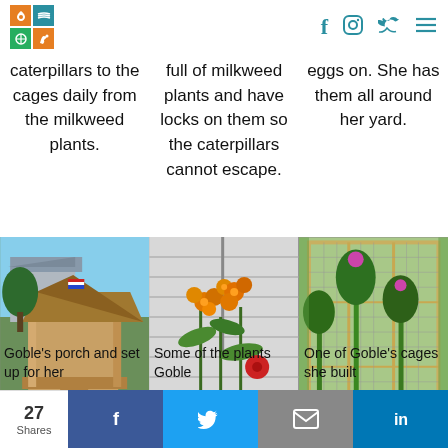Nature logo with social icons: Facebook, Instagram, Twitter, hamburger menu
caterpillars to the full of milkweed eggs on. She has cages daily from plants and have them all around the milkweed locks on them so her yard. plants. the caterpillars cannot escape.
[Figure (photo): Photo of a wooden porch/gazebo structure with a house and green lawn]
[Figure (photo): Photo of orange milkweed flowers beside a house with white siding]
[Figure (photo): Photo of a large mesh/screen cage with plants inside]
Goble's porch and set up for her
Some of the plants Goble
One of Goble's cages she built
27 Shares  f  [twitter bird]  [mail]  in